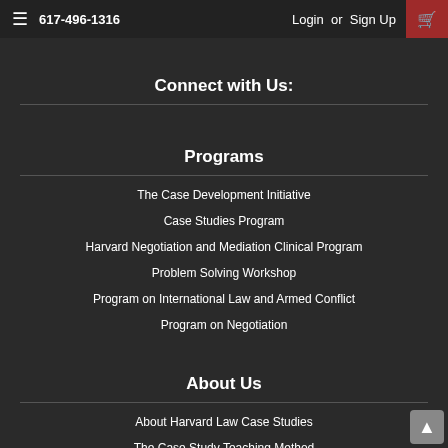617-496-1316  Login or Sign Up
Connect with Us:
Programs
The Case Development Initiative
Case Studies Program
Harvard Negotiation and Mediation Clinical Program
Problem Solving Workshop
Program on International Law and Armed Conflict
Program on Negotiation
About Us
About Harvard Law Case Studies
The Case Study Teaching Method
Blog